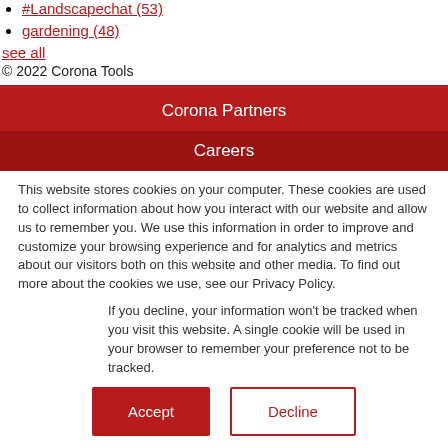#Landscapechat (53)
gardening (48)
see all
© 2022 Corona Tools
Corona Partners
Careers
This website stores cookies on your computer. These cookies are used to collect information about how you interact with our website and allow us to remember you. We use this information in order to improve and customize your browsing experience and for analytics and metrics about our visitors both on this website and other media. To find out more about the cookies we use, see our Privacy Policy.
If you decline, your information won't be tracked when you visit this website. A single cookie will be used in your browser to remember your preference not to be tracked.
Accept
Decline